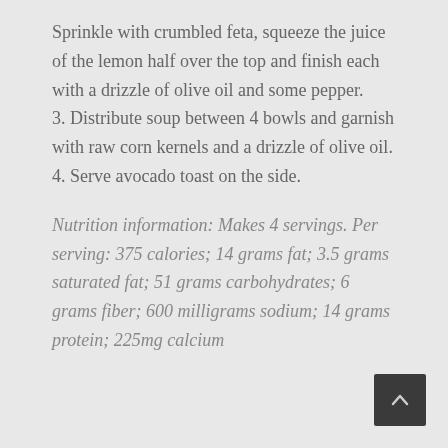Sprinkle with crumbled feta, squeeze the juice of the lemon half over the top and finish each with a drizzle of olive oil and some pepper.
3. Distribute soup between 4 bowls and garnish with raw corn kernels and a drizzle of olive oil.
4. Serve avocado toast on the side.
Nutrition information: Makes 4 servings. Per serving: 375 calories; 14 grams fat; 3.5 grams saturated fat; 51 grams carbohydrates; 6 grams fiber; 600 milligrams sodium; 14 grams protein; 225mg calcium